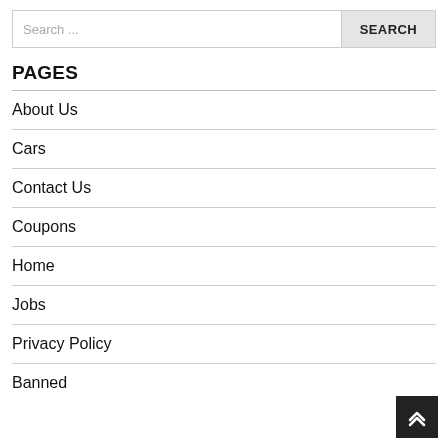Search ...
PAGES
About Us
Cars
Contact Us
Coupons
Home
Jobs
Privacy Policy
Banned